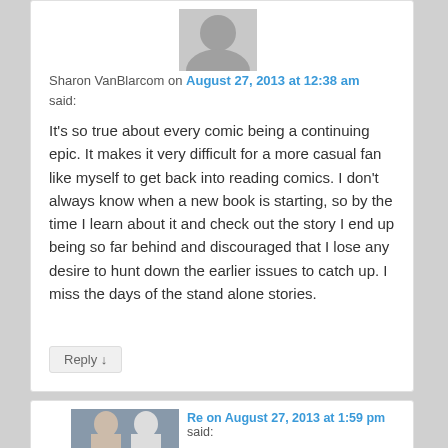[Figure (photo): Gray avatar silhouette for user Sharon VanBlarcom]
Sharon VanBlarcom on August 27, 2013 at 12:38 am said:
It's so true about every comic being a continuing epic. It makes it very difficult for a more casual fan like myself to get back into reading comics. I don't always know when a new book is starting, so by the time I learn about it and check out the story I end up being so far behind and discouraged that I lose any desire to hunt down the earlier issues to catch up. I miss the days of the stand alone stories.
Reply ↓
[Figure (photo): Profile photo of two men, second commenter]
Re on August 27, 2013 at 1:59 pm said: